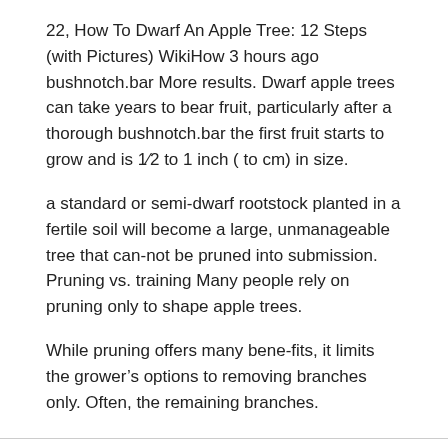22, How To Dwarf An Apple Tree: 12 Steps (with Pictures) WikiHow 3 hours ago bushnotch.bar More results. Dwarf apple trees can take years to bear fruit, particularly after a thorough bushnotch.bar the first fruit starts to grow and is 1⁄2 to 1 inch ( to cm) in size.
a standard or semi-dwarf rootstock planted in a fertile soil will become a large, unmanageable tree that can-not be pruned into submission. Pruning vs. training Many people rely on pruning only to shape apple trees.
While pruning offers many bene-fits, it limits the grower’s options to removing branches only. Often, the remaining branches.
What time of year to trim silver maple tree
Gemstone dig kit dollar tree